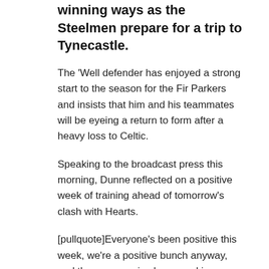winning ways as the Steelmen prepare for a trip to Tynecastle.
The ‘Well defender has enjoyed a strong start to the season for the Fir Parkers and insists that him and his teammates will be eyeing a return to form after a heavy loss to Celtic.
Speaking to the broadcast press this morning, Dunne reflected on a positive week of training ahead of tomorrow’s clash with Hearts.
[pullquote]Everyone’s been positive this week, we’re a positive bunch anyway, and the manager is always making sure of that so everyone has been good in training.[/pullquote]